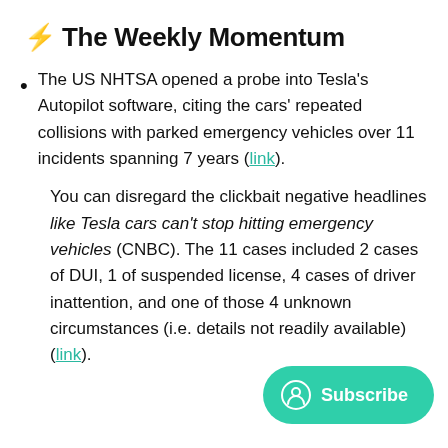⚡ The Weekly Momentum
The US NHTSA opened a probe into Tesla's Autopilot software, citing the cars' repeated collisions with parked emergency vehicles over 11 incidents spanning 7 years (link).
You can disregard the clickbait negative headlines like Tesla cars can't stop hitting emergency vehicles (CNBC). The 11 cases included 2 cases of DUI, 1 of suspended license, 4 cases of driver inattention, and one of those 4 unknown circumstances (i.e. details not readily available) (link).